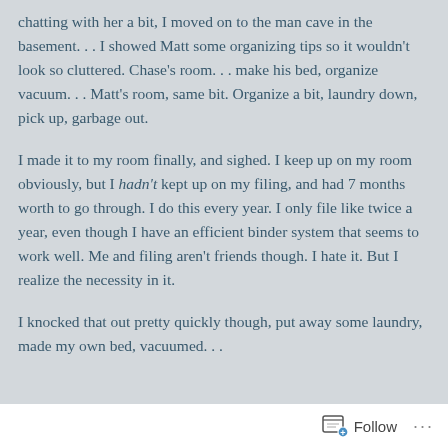chatting with her a bit, I moved on to the man cave in the basement. . . I showed Matt some organizing tips so it wouldn't look so cluttered. Chase's room. . . make his bed, organize vacuum. . . Matt's room, same bit. Organize a bit, laundry down, pick up, garbage out.
I made it to my room finally, and sighed. I keep up on my room obviously, but I hadn't kept up on my filing, and had 7 months worth to go through. I do this every year. I only file like twice a year, even though I have an efficient binder system that seems to work well. Me and filing aren't friends though. I hate it. But I realize the necessity in it.
I knocked that out pretty quickly though, put away some laundry, made my own bed, vacuumed. . .
(partial line cut off at bottom)
Follow